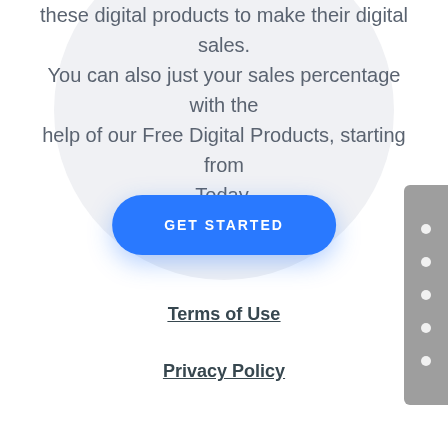these digital products to make their digital sales. You can also just your sales percentage with the help of our Free Digital Products, starting from Today.
[Figure (other): Blue rounded 'GET STARTED' button with drop shadow on a light grey circular background]
[Figure (other): Grey sidebar panel on the right edge with 5 white dot navigation indicators]
Terms of Use
Privacy Policy